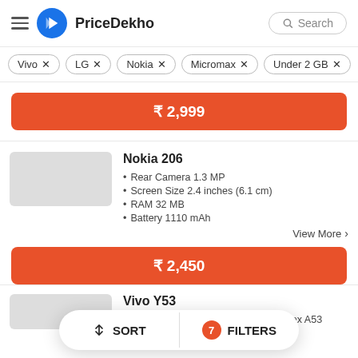PriceDekho
Vivo ×
LG ×
Nokia ×
Micromax ×
Under 2 GB ×
₹ 2,999
Nokia 206
Rear Camera 1.3 MP
Screen Size 2.4 inches (6.1 cm)
RAM 32 MB
Battery 1110 mAh
View More >
₹ 2,450
SORT   7 FILTERS
Vivo Y53
Processor Quad core, 1.4 GHz, Cortex A53